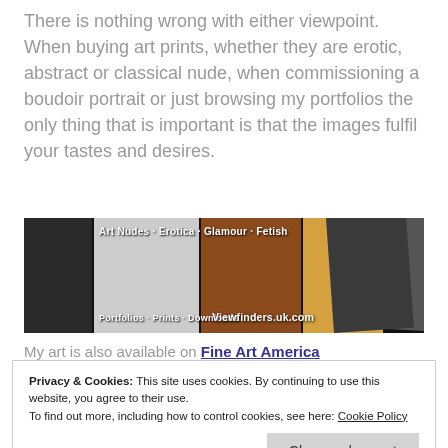There is nothing wrong with either viewpoint. When buying art prints, whether they are erotic, abstract or classical nude, when commissioning a boudoir portrait or just browsing my portfolios the only thing that is important is that the images fulfil your tastes and desires.
[Figure (photo): A collage banner image showing multiple art photography thumbnails with text overlays: 'Art Nudes · Erotica · Glamour · Fetish', 'Portfolios · Prints · Downloads', and 'Viewfinders.uk.com']
My art is also available on Fine Art America
Privacy & Cookies: This site uses cookies. By continuing to use this website, you agree to their use.
To find out more, including how to control cookies, see here: Cookie Policy
Close and accept